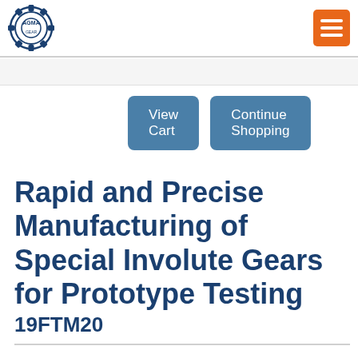[Figure (logo): AGMA gear logo — circular gear icon with AGMA initials]
[Figure (other): Orange hamburger menu button (three white horizontal lines)]
View Cart
Continue Shopping
Rapid and Precise Manufacturing of Special Involute Gears for Prototype Testing
19FTM20